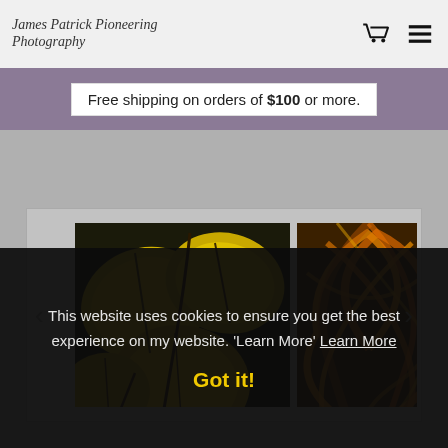James Patrick Pioneering Photography — cart icon, menu icon
Free shipping on orders of $100 or more.
[Figure (photo): Gallery slider showing two art photographs: left image shows large yellow autumn leaves on dark branches; right image shows swirling orange and gold abstract pattern resembling woven or flowing strands. Navigation arrows on left and right sides of slider.]
This website uses cookies to ensure you get the best experience on my website. 'Learn More' Learn More
Got it!